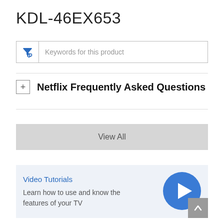KDL-46EX653
[Figure (screenshot): Search/filter input box with a blue funnel icon and placeholder text 'Keywords for this product']
Netflix Frequently Asked Questions
View All
Video Tutorials
Learn how to use and know the features of your TV